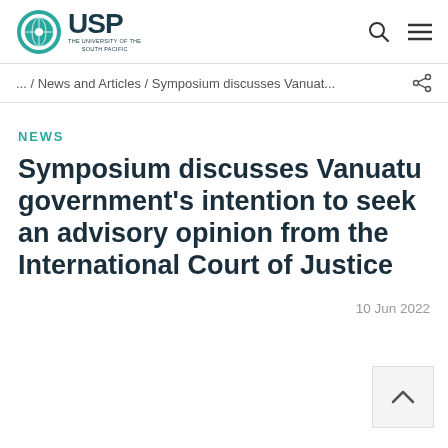USP — THE UNIVERSITY OF THE SOUTH PACIFIC
... / News and Articles / Symposium discusses Vanuat...
NEWS
Symposium discusses Vanuatu government's intention to seek an advisory opinion from the International Court of Justice
10 Jun 2022